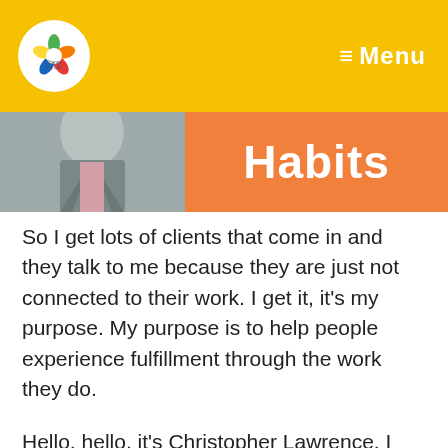[Figure (logo): Change My Life Coaching logo — circular white badge with colorful leaf/petal design]
≡ Menu
[Figure (photo): Person in grey suit jacket, cropped portrait photo on left side]
Habits
So I get lots of clients that come in and they talk to me because they are just not connected to their work. I get it, it's my purpose. My purpose is to help people experience fulfillment through the work they do.
Hello, hello, it's Christopher Lawrence. I am filming from my office today at Change My Life Coaching. I should show you my cool green wall, Professional Coaching and Consulting Centre. Life, leadership and business. So that's what I do but what do you do and do you love it? Do you